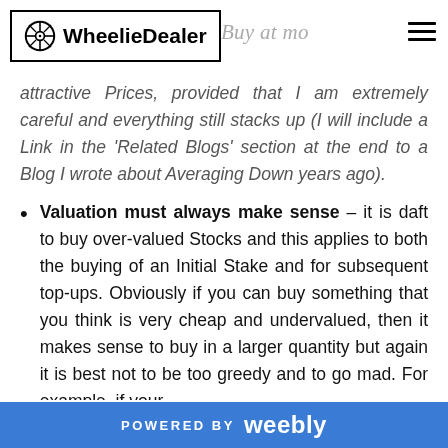WheelieDealer [logo/header with navigation]
attractive Prices, provided that I am extremely careful and everything still stacks up (I will include a Link in the ‘Related Blogs’ section at the end to a Blog I wrote about Averaging Down years ago).
Valuation must always make sense – it is daft to buy over-valued Stocks and this applies to both the buying of an Initial Stake and for subsequent top-ups. Obviously if you can buy something that you think is very cheap and undervalued, then it makes sense to buy in a larger quantity but again it is best not to be too greedy and to go mad. For example, if your
POWERED BY weebly